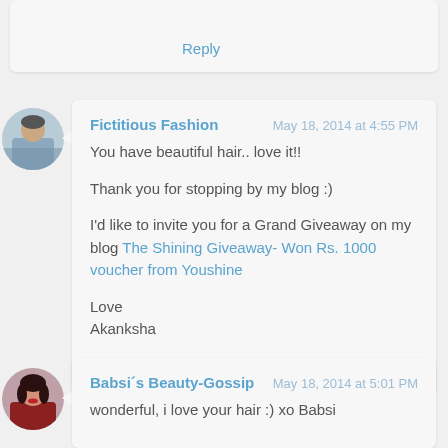Reply
Fictitious Fashion
May 18, 2014 at 4:55 PM
You have beautiful hair.. love it!!

Thank you for stopping by my blog :)

I'd like to invite you for a Grand Giveaway on my blog The Shining Giveaway- Won Rs. 1000 voucher from Youshine

Love
Akanksha
Reply
Babsi´s Beauty-Gossip
May 18, 2014 at 5:01 PM
wonderful, i love your hair :) xo Babsi